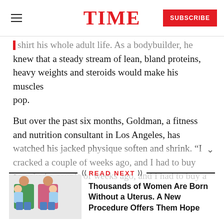TIME
shirt his whole adult life. As a bodybuilder, he knew that a steady stream of lean, bland proteins, heavy weights and steroids would make his muscles pop.
But over the past six months, Goldman, a fitness and nutrition consultant in Los Angeles, has watched his jacked physique soften and shrink. “I cracked a couple of weeks ago, and I had to buy a
READ NEXT
Thousands of Women Are Born Without a Uterus. A New Procedure Offers Them Hope